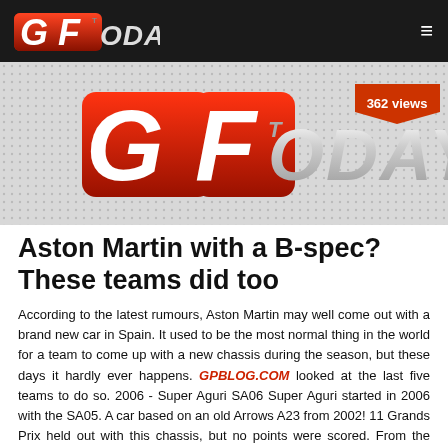GFToday
[Figure (logo): GPToday logo banner image with large red GP lettering and white TODAY text on light gray dotted background, with '362 views' badge in red]
Aston Martin with a B-spec? These teams did too
According to the latest rumours, Aston Martin may well come out with a brand new car in Spain. It used to be the most normal thing in the world for a team to come up with a new chassis during the season, but these days it hardly ever happens. GPBLOG.COM looked at the last five teams to do so. 2006 - Super Aguri SA06 Super Aguri started in 2006 with the SA05. A car based on an old Arrows A23 from 2002! 11 Grands Prix held out with this chassis, but no points were scored. From the twelfth